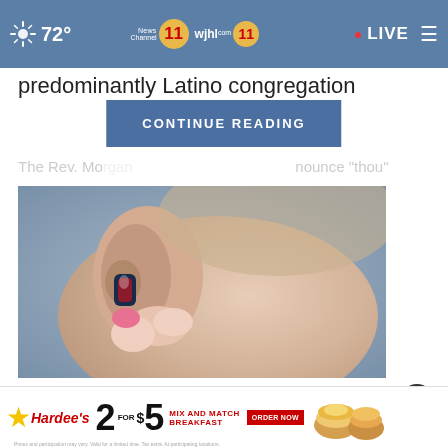72° | News Channel 11 | wjhl 11 | LIVE
predominantly Latino congregation
CONTINUE READING
The Rev. Mo...   ...nounce "thou"
[Figure (photo): Close-up photo of a person's ear with a hearing aid being inserted by fingers with pink nail polish]
Seniors with Hearing Loss in the U.S. Regret Not Knowing This Sooner
[Figure (other): Hardee's advertisement: 2 for $5 Mix and Match Breakfast, with food images and order now button]